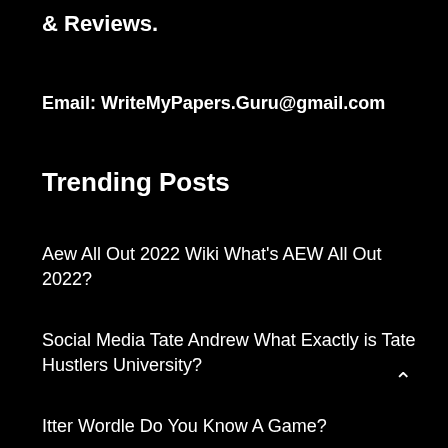& Reviews.
Email: WriteMyPapers.Guru@gmail.com
Trending Posts
Aew All Out 2022 Wiki What's AEW All Out 2022?
Social Media Tate Andrew What Exactly is Tate Hustlers University?
Itter Wordle Do You Know A Game?
About